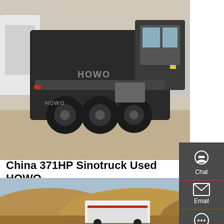[Figure (photo): HOWO dump trucks parked in a yard, rear view showing multiple large trucks with visible tires and chassis]
China 371HP Sinotruck Used HOWO Dump Truck 6X4 …
371HP Sinotruck Used HOWO Dump Truck 6X4 Used Tipper Truck. Get Latest Price. Purchase Qty. / Reference FOB Price 1-9 Pieces. US $13,900. 10+ …
[Figure (other): Sidebar with Chat, Email, Contact, and Top navigation icons on dark grey background]
Get a Quote
[Figure (photo): Partial view of a dump truck at a gravel or sand mound site]